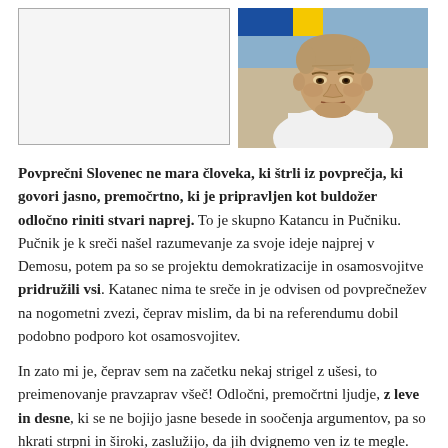[Figure (photo): Left: blank/placeholder image with border. Right: close-up photo of a middle-aged man in a white shirt, appearing serious, outdoors.]
Povprečni Slovenec ne mara človeka, ki štrli iz povprečja, ki govori jasno, premočrtno, ki je pripravljen kot buldožer odločno riniti stvari naprej. To je skupno Katancu in Pučniku. Pučnik je k sreči našel razumevanje za svoje ideje najprej v Demosu, potem pa so se projektu demokratizacije in osamosvojitve pridružili vsi. Katanec nima te sreče in je odvisen od povprečnežev na nogometni zvezi, čeprav mislim, da bi na referendumu dobil podobno podporo kot osamosvojitev.
In zato mi je, čeprav sem na začetku nekaj strigel z ušesi, to preimenovanje pravzaprav všeč! Odločni, premočrtni ljudje, z leve in desne, ki se ne bojijo jasne besede in soočenja argumentov, pa so hkrati strpni in široki, zaslužijo, da jih dvignemo ven iz te megle.